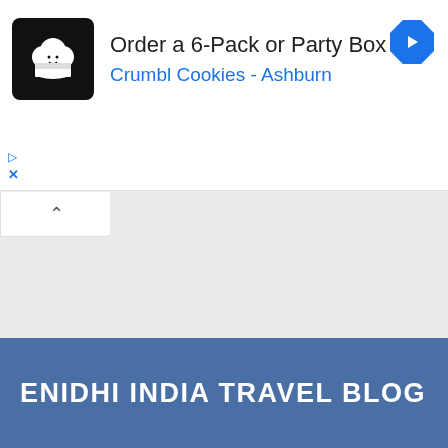[Figure (screenshot): Google ad banner for Crumbl Cookies - Ashburn. Shows a black square logo with a chef's hat cookie icon, headline 'Order a 6-Pack or Party Box', subtitle 'Crumbl Cookies - Ashburn' in blue, and a blue diamond navigation arrow icon on the right.]
[Figure (screenshot): A collapse/minimize tab button with an upward caret (^) on a white background, below the ad banner.]
[Figure (screenshot): Gray content area representing a map or blank content region.]
ENIDHI INDIA TRAVEL BLOG